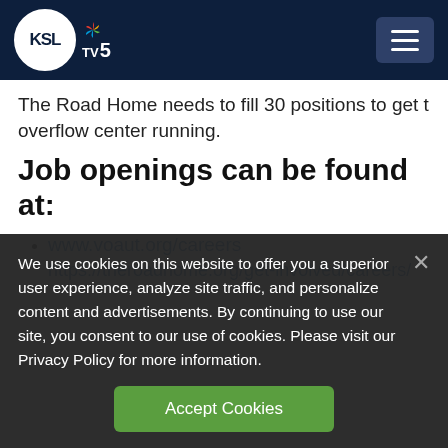KSL TV 5
The Road Home needs to fill 30 positions to get the overflow center running.
Job openings can be found at:
www.voaut.org/careers
https://theroadhome.org/get-involved/careers/
We use cookies on this website to offer you a superior user experience, analyze site traffic, and personalize content and advertisements. By continuing to use our site, you consent to our use of cookies. Please visit our Privacy Policy for more information.
Accept Cookies